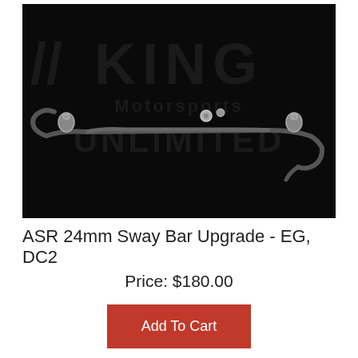[Figure (photo): Product photo of ASR 24mm sway bar on black background with King Motorsports Unlimited watermark logo. Shows a long curved metal sway bar with two small hardware pieces.]
ASR 24mm Sway Bar Upgrade - EG, DC2
Price: $180.00
Add To Cart